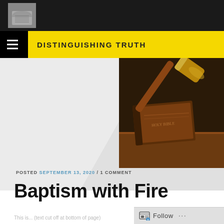[Figure (photo): Small thumbnail photo of a gravestone or stone monument, in the top black header bar]
DISTINGUISHING TRUTH
[Figure (photo): Photo of an old Holy Bible with a gavel/mallet resting on top, dark background, brown tones]
POSTED SEPTEMBER 13, 2020 / 1 COMMENT
Baptism with Fire
(partial, cut off at bottom)